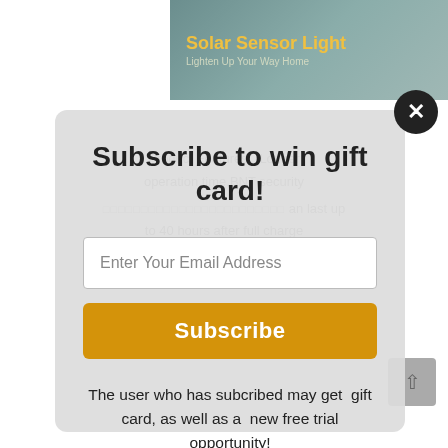[Figure (screenshot): Background product page showing a Solar Sensor Light advertisement banner with camera imagery, and faded product description text about operation time, charging hours, aluminum alloy shell, and 8500LM LED solar features. A scroll-to-top button is visible at bottom right.]
[Figure (other): Dark circular close/dismiss button (X) overlaid at top right of modal]
Subscribe to win gift card!
Enter Your Email Address
Subscribe
The user who has subcribed may get  gift card, as well as a  new free trial opportunity!